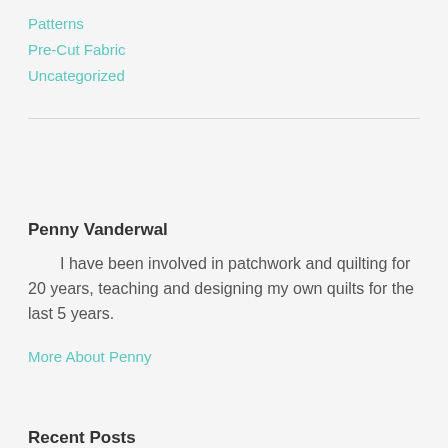Patterns
Pre-Cut Fabric
Uncategorized
Penny Vanderwal
I have been involved in patchwork and quilting for 20 years, teaching and designing my own quilts for the last 5 years.
More About Penny
Recent Posts